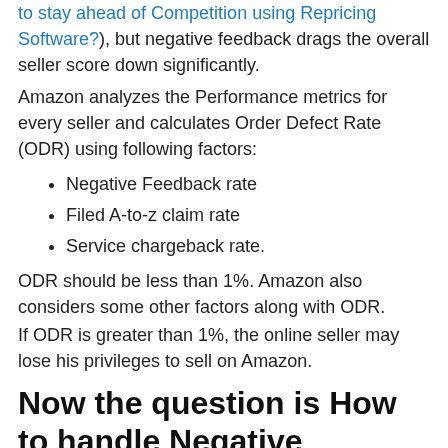to stay ahead of Competition using Repricing Software?), but negative feedback drags the overall seller score down significantly.
Amazon analyzes the Performance metrics for every seller and calculates Order Defect Rate (ODR) using following factors:
Negative Feedback rate
Filed A-to-z claim rate
Service chargeback rate.
ODR should be less than 1%. Amazon also considers some other factors along with ODR.
If ODR is greater than 1%, the online seller may lose his privileges to sell on Amazon.
Now the question is How to handle Negative Feedback on Amazon India?
A major challenge is how to handle negative feedback, but that's not end of the world, you can follow the